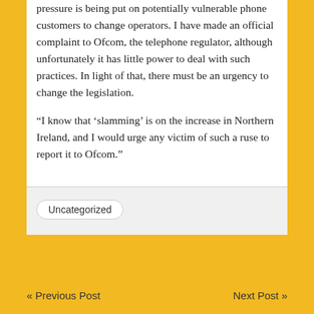pressure is being put on potentially vulnerable phone customers to change operators. I have made an official complaint to Ofcom, the telephone regulator, although unfortunately it has little power to deal with such practices. In light of that, there must be an urgency to change the legislation.
“I know that ‘slamming’ is on the increase in Northern Ireland, and I would urge any victim of such a ruse to report it to Ofcom.”
Uncategorized
« Previous Post    Next Post »